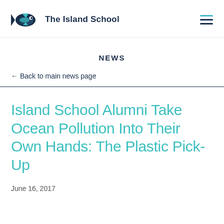The Island School
NEWS
← Back to main news page
Island School Alumni Take Ocean Pollution Into Their Own Hands: The Plastic Pick-Up
June 16, 2017